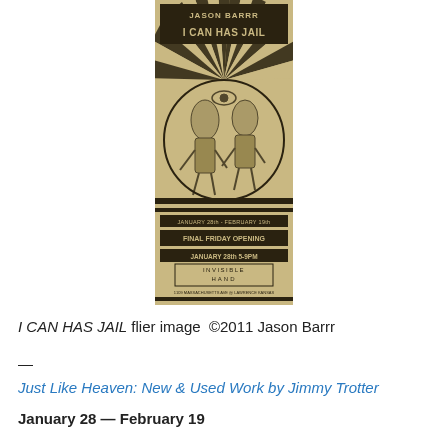[Figure (illustration): Vintage-style event poster on aged tan/kraft paper background with radiating sunburst lines. Text at top reads 'JASON BARRR / I CAN HAS JAIL'. Central circular image shows two abstracted human-like figures. Bottom text reads 'JANUARY 28th - FEBRUARY 19th / FINAL FRIDAY OPENING / JANUARY 28th 5-9PM / INVISIBLE HAND / 1109 MASSACHUSETTS AVE @ LAWRENCE KANSAS'.]
I CAN HAS JAIL flier image  ©2011 Jason Barrr
—
Just Like Heaven: New & Used Work by Jimmy Trotter
January 28 — February 19